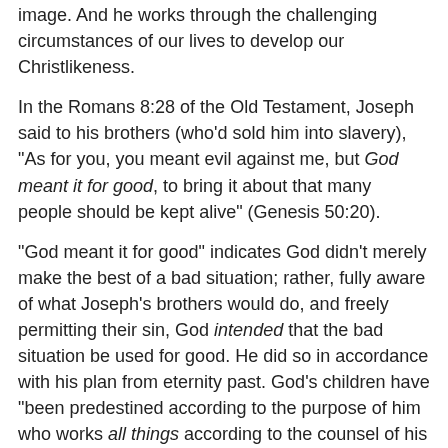image. And he works through the challenging circumstances of our lives to develop our Christlikeness.
In the Romans 8:28 of the Old Testament, Joseph said to his brothers (who'd sold him into slavery), "As for you, you meant evil against me, but God meant it for good, to bring it about that many people should be kept alive" (Genesis 50:20).
"God meant it for good" indicates God didn't merely make the best of a bad situation; rather, fully aware of what Joseph's brothers would do, and freely permitting their sin, God intended that the bad situation be used for good. He did so in accordance with his plan from eternity past. God's children have "been predestined according to the purpose of him who works all things according to the counsel of his will" (Ephesians 1:11).
Nothing about God's work in Joseph's life suggests he works any differently in the lives of his other children. In fact, Romans 8:28 and Ephesians 1:11 are emphatic that he works the same way with us.
Paraphrasing the version of Romans 8:28, I put the...